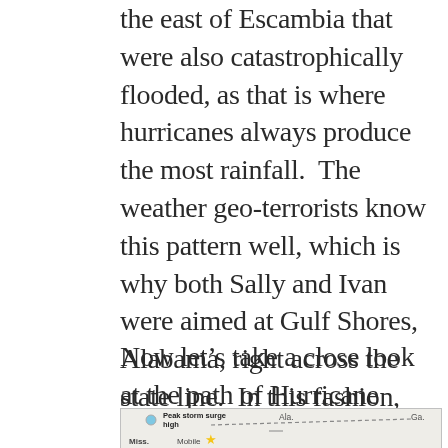the east of Escambia that were also catastrophically flooded, as that is where hurricanes always produce the most rainfall.  The weather geo-terrorists know this pattern well, which is why both Sally and Ivan were aimed at Gulf Shores, Alabama, right across the state line.  In this fashion, they were assured of a cataclysmic outcome for much of the Florida Panhandle.
Now let's take a close look at the path of Hurricane Sally below.
[Figure (map): Map showing Hurricane Sally path and peak storm surge high, with labels for Miss., Mobile, Ala., and Ga. A dashed line indicates the storm track and a yellow star marks a location near Mobile.]